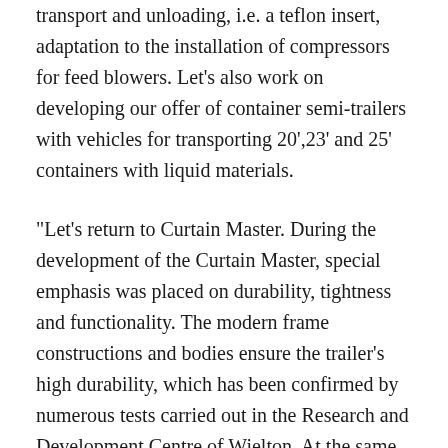transport and unloading, i.e. a teflon insert, adaptation to the installation of compressors for feed blowers. Let's also work on developing our offer of container semi-trailers with vehicles for transporting 20',23' and 25' containers with liquid materials.
“Let’s return to Curtain Master. During the development of the Curtain Master, special emphasis was placed on durability, tightness and functionality. The modern frame constructions and bodies ensure the trailer’s high durability, which has been confirmed by numerous tests carried out in the Research and Development Centre of Wielton. At the same time, the trailer’s empty weight was kept low, which significantly reduced the costs of operating it on long journeys. The chassis is protected against corrosion by means of a cataphoretic painting technique, and the company’s own coating line ensures the